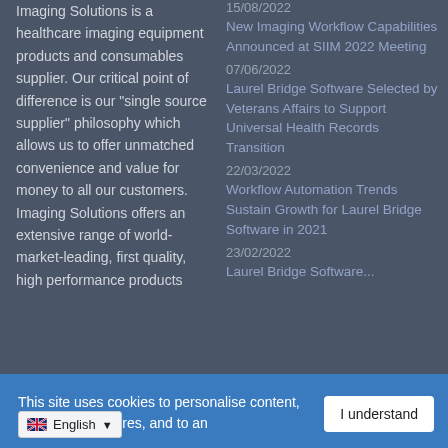Imaging Solutions is a healthcare imaging equipment products and consumables supplier. Our critical point of difference is our "single source supplier" philosophy which allows us to offer unmatched convenience and value for money to all our customers. Imaging Solutions offers an extensive range of world-market-leading, first quality, high performance products
15/08/2022
New Imaging Workflow Capabilities Announced at SIIM 2022 Meeting
07/06/2022
Laurel Bridge Software Selected by Veterans Affairs to Support Universal Health Records Transition
22/03/2022
Workflow Automation Trends Sustain Growth for Laurel Bridge Software in 2021
23/02/2022
Laurel Bridge Software...
This site uses cookies to personalise content, for account features, and to an...